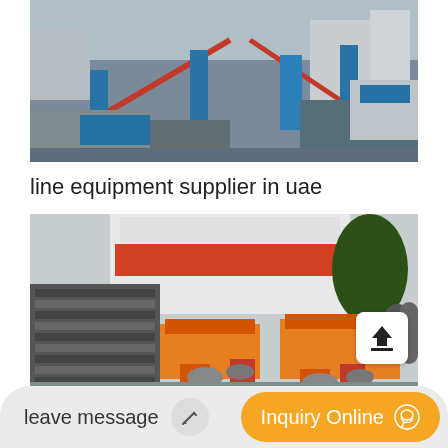[Figure (photo): Aerial view of a large industrial/mining conveyor belt facility with blue steel structures, conveyor systems, and industrial buildings in the background.]
line equipment supplier in uae
[Figure (photo): Ground-level view of a factory yard with stacked steel/metal panels on the left and large orange industrial crushing/processing machines in the center and right, with Chinese text banners visible on a white building in the background and a large tree on the right.]
leave message
Inquiry Online